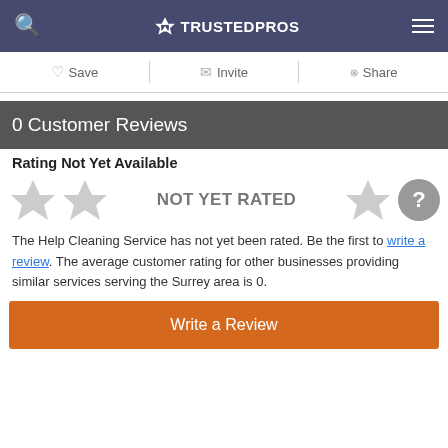TRUSTEDPROS
Save | Invite | Share
0 Customer Reviews
Rating Not Yet Available
[Figure (other): Five gray empty stars with NOT YET RATED text overlay and a gray question mark circle]
The Help Cleaning Service has not yet been rated. Be the first to write a review. The average customer rating for other businesses providing similar services serving the Surrey area is 0.
Write a Review